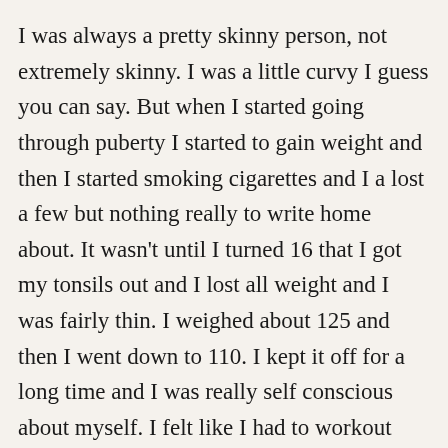I was always a pretty skinny person, not extremely skinny. I was a little curvy I guess you can say. But when I started going through puberty I started to gain weight and then I started smoking cigarettes and I a lost a few but nothing really to write home about. It wasn't until I turned 16 that I got my tonsils out and I lost all weight and I was fairly thin. I weighed about 125 and then I went down to 110. I kept it off for a long time and I was really self conscious about myself. I felt like I had to workout constantly but all I had back then was an elliptical and I used to do that thing like a few times a day. That was how I kept the weight off. I was still smoking to keep myself skinny and to keep my